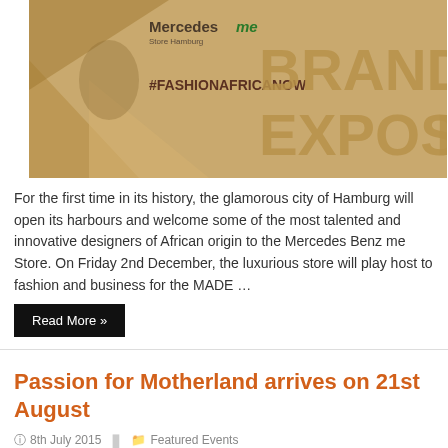[Figure (photo): Event promotional image for #FASHIONAFRICANOW at Mercedes me Store Hamburg. Left side shows Mercedes me logo, Store Hamburg text, and #FASHIONAFRICANOW hashtag on golden/tan background with geometric shapes. Right side shows large text 'BRANDS EXPOSED' partially visible.]
For the first time in its history, the glamorous city of Hamburg will open its harbours and welcome some of the most talented and innovative designers of African origin to the Mercedes Benz me Store. On Friday 2nd December, the luxurious store will play host to fashion and business for the MADE …
Read More »
Passion for Motherland arrives on 21st August
8th July 2015   Featured Events
[Figure (photo): Dark/black video thumbnail image]